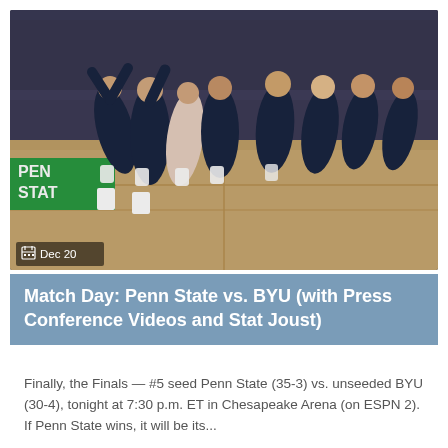[Figure (photo): Penn State women's volleyball team celebrating on a court, players in navy blue uniforms running and embracing. A green sign reading 'PENN STATE' is visible in the background. Arena crowd visible.]
Dec 20
Match Day: Penn State vs. BYU (with Press Conference Videos and Stat Joust)
Finally, the Finals — #5 seed Penn State (35-3) vs. unseeded BYU (30-4), tonight at 7:30 p.m. ET in Chesapeake Arena (on ESPN 2). If Penn State wins, it will be its...